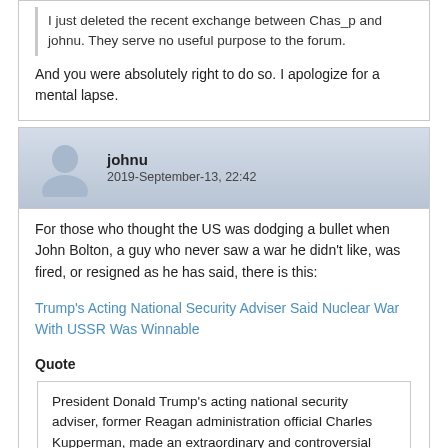I just deleted the recent exchange between Chas_p and johnu. They serve no useful purpose to the forum.
And you were absolutely right to do so. I apologize for a mental lapse.
johnu
2019-September-13, 22:42
For those who thought the US was dodging a bullet when John Bolton, a guy who never saw a war he didn't like, was fired, or resigned as he has said, there is this:
Trump's Acting National Security Adviser Said Nuclear War With USSR Was Winnable
Quote
President Donald Trump's acting national security adviser, former Reagan administration official Charles Kupperman, made an extraordinary and controversial claim in the early 1980s: nuclear conflict with the USSR was